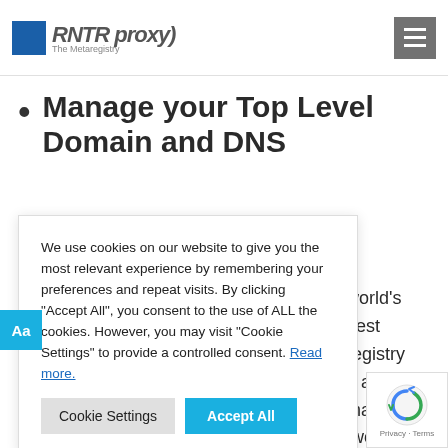RNTR proxy The Metaregistry
Manage your Top Level Domain and DNS
We use cookies on our website to give you the most relevant experience by remembering your preferences and repeat visits. By clicking "Accept All", you consent to the use of ALL the cookies. However, you may visit "Cookie Settings" to provide a controlled consent. Read more.
world's best registry e and market twork of